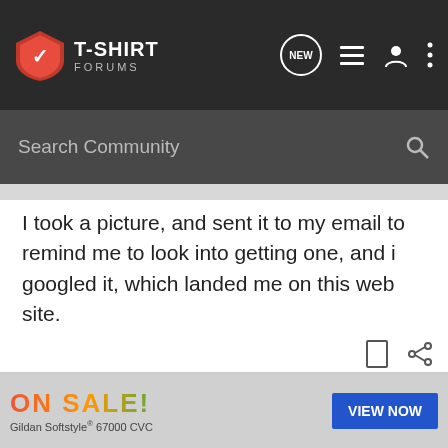T-SHIRT FORUMS
Search Community
I took a picture, and sent it to my email to remind me to look into getting one, and i googled it, which landed me on this web site.
[Figure (photo): Photo of a Gildan t-shirt retail display stand with colorful t-shirts hanging on it, labeled GILDAN at top and bottom.]
[Figure (infographic): Advertisement banner reading ON SALE! Gildan Softstyle 67000 CVC with a VIEW NOW button]